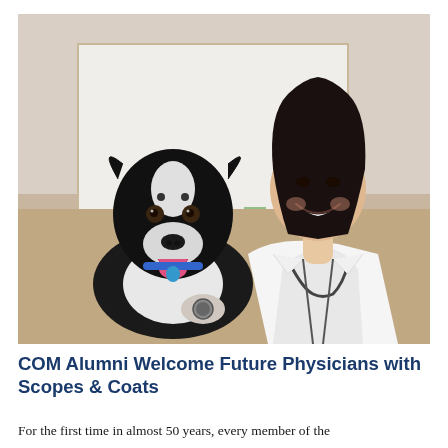[Figure (photo): A smiling young woman in a white medical coat with a stethoscope around her neck poses with a black and white border collie dog. The background shows a whiteboard in an indoor setting.]
COM Alumni Welcome Future Physicians with Scopes & Coats
For the first time in almost 50 years, every member of the